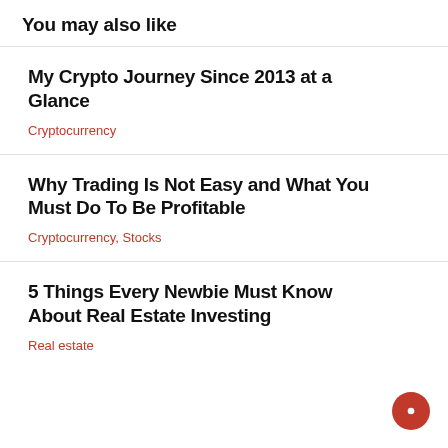You may also like
My Crypto Journey Since 2013 at a Glance
Cryptocurrency
Why Trading Is Not Easy and What You Must Do To Be Profitable
Cryptocurrency, Stocks
5 Things Every Newbie Must Know About Real Estate Investing
Real estate